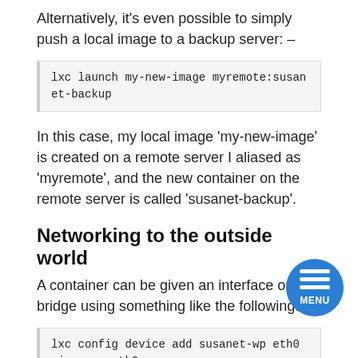Alternatively, it's even possible to simply push a local image to a backup server: –
lxc launch my-new-image myremote:susanet-backup
In this case, my local image 'my-new-image' is created on a remote server I aliased as 'myremote', and the new container on the remote server is called 'susanet-backup'.
Networking to the outside world
A container can be given an interface on the bridge using something like the following: –
lxc config device add susanet-wp eth0 nic name=eth0 nictype=bridged parent=lxdbr0
We can use DNAT to forward host ports (e.g. on an